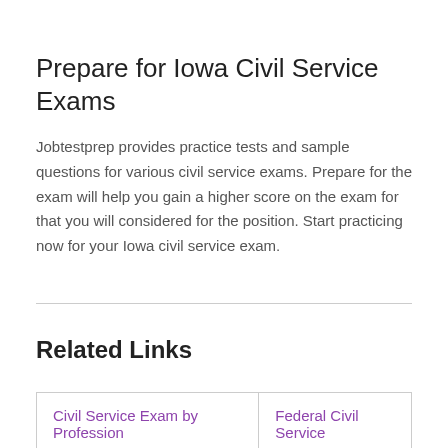Prepare for Iowa Civil Service Exams
Jobtestprep provides practice tests and sample questions for various civil service exams. Prepare for the exam will help you gain a higher score on the exam for that you will considered for the position. Start practicing now for your Iowa civil service exam.
Related Links
| Civil Service Exam by Profession | Federal Civil Service |